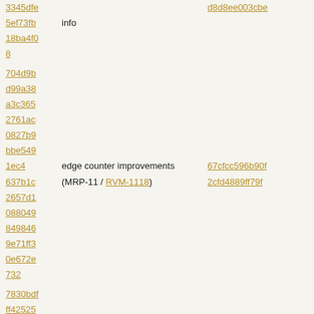| hash | message | commit |
| --- | --- | --- |
| 3345dfe |  | d8d8ee003cbe |
| 5ef73fb | info |  |
| 18ba4f0 |  |  |
| 8 |  |  |
| 704d9b |  |  |
| d99a38 |  |  |
| a3c365 |  |  |
| 2761ac |  |  |
| 0827b9 |  |  |
| bbe549 |  |  |
| 1ec4 | edge counter improvements | 67cfcc596b90f |
| 637b1c | (MRP-11 / RVM-1118) | 2cfd4889ff79f |
| 2657d1 |  |  |
| 088049 |  |  |
| 849846 |  |  |
| 9e71ff3 |  |  |
| 0e672e |  |  |
| 732 |  |  |
| 7830bdf |  |  |
| ff42525 |  |  |
| de4c43 | remove jumps from IA32 | 0732e80a9484 |
| ccb3b9 | baseline compiler long shifts | 4a8c28fc6443f |
| d9a251 | where possible |  |
| cc57ea |  |  |
| 99 |  |  |